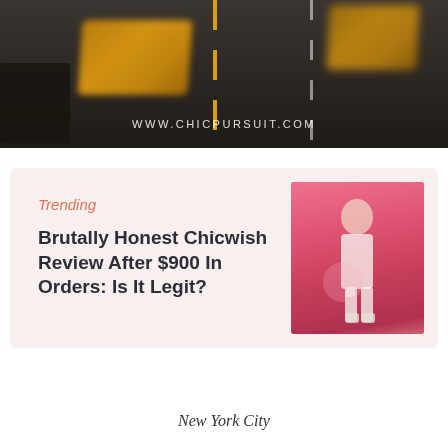[Figure (photo): Aerial/overhead view of a road with blurred yellow taxi cabs in motion, dark asphalt, yellow center lines, and white dashed lane markings. Watermark text reads www.chicpursuit.com]
[Figure (infographic): Trending article card with salmon/pink background. Left side shows category label 'Trending' in italic salmon color, followed by bold title 'Brutally Honest Chicwish Review After $900 In Orders: Is It Legit?'. Right side shows a photo of a woman in white outfit standing against a pink wall.]
New York City